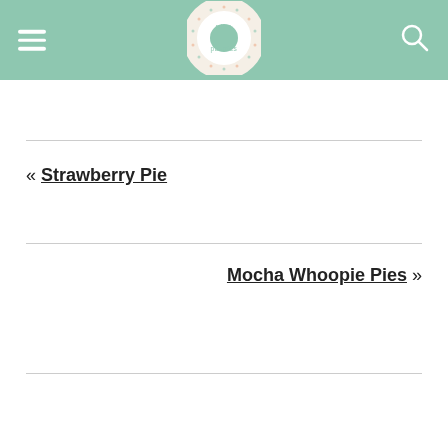[Figure (logo): Pics and Pastries logo: a donut shape with 'pics' and 'pastries' text on a mint green header background]
« Strawberry Pie
Mocha Whoopie Pies »